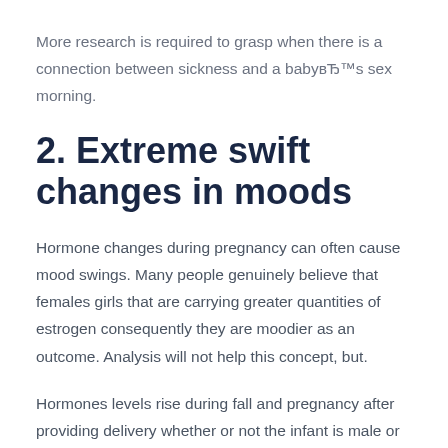More research is required to grasp when there is a connection between sickness and a babyвЂ™s sex morning.
2. Extreme swift changes in moods
Hormone changes during pregnancy can often cause mood swings. Many people genuinely believe that females girls that are carrying greater quantities of estrogen consequently they are moodier as an outcome. Analysis will not help this concept, but.
Hormones levels rise during fall and pregnancy after providing delivery whether or not the infant is male or